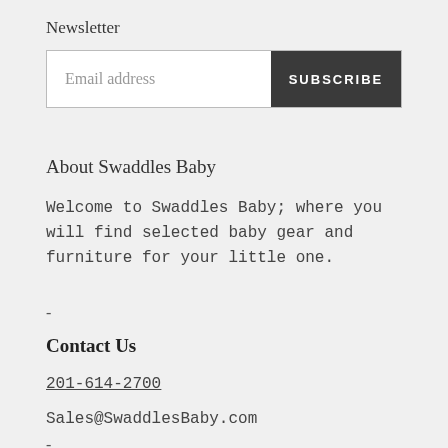Newsletter
[Figure (other): Email address input field with Subscribe button]
About Swaddles Baby
Welcome to Swaddles Baby; where you will find selected baby gear and furniture for your little one.
-
Contact Us
201-614-2700
Sales@SwaddlesBaby.com
-